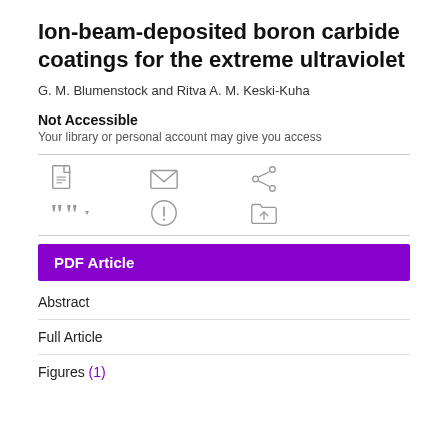Ion-beam-deposited boron carbide coatings for the extreme ultraviolet
G. M. Blumenstock and Ritva A. M. Keski-Kuha
Not Accessible
Your library or personal account may give you access
[Figure (infographic): Row of action icons: PDF download, email, share icons in top row; cite (quotation marks with dropdown), alert (circle with exclamation), save to folder icons in second row]
PDF Article
Abstract
Full Article
Figures (1)